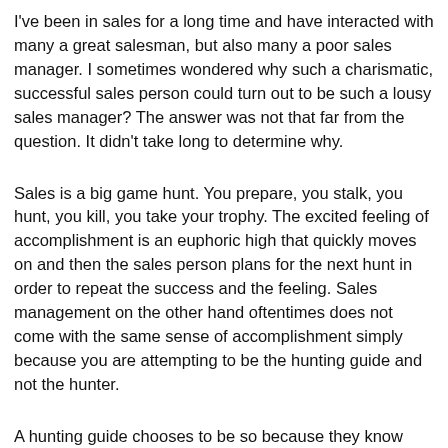I've been in sales for a long time and have interacted with many a great salesman, but also many a poor sales manager. I sometimes wondered why such a charismatic, successful sales person could turn out to be such a lousy sales manager? The answer was not that far from the question. It didn't take long to determine why.
Sales is a big game hunt. You prepare, you stalk, you hunt, you kill, you take your trophy. The excited feeling of accomplishment is an euphoric high that quickly moves on and then the sales person plans for the next hunt in order to repeat the success and the feeling. Sales management on the other hand oftentimes does not come with the same sense of accomplishment simply because you are attempting to be the hunting guide and not the hunter.
A hunting guide chooses to be so because they know how to hunt and how to accomplish their goals. They've done it enough that they want others to gain the same level (or close to) of their success. The sales manager needs to change their own demeanor when dealing with